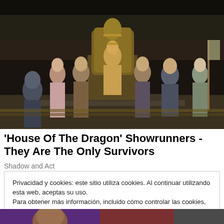[Figure (photo): Scene from 'House of the Dragon' showing multiple characters in medieval fantasy costumes standing in a grand hall, with a central figure seated on an ornate golden throne]
'House Of The Dragon' Showrunners - They Are The Only Survivors
Shadow and Act
Privacidad y cookies: este sitio utiliza cookies. Al continuar utilizando esta web, aceptas su uso.
Para obtener más información, incluido cómo controlar las cookies, consulta aquí: Política de cookies
Cerrar y aceptar